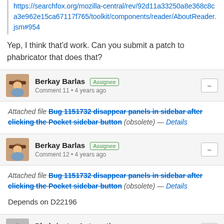https://searchfox.org/mozilla-central/rev/92d11a33250a8e368c8ca3e962e15ca67117f765/toolkit/components/reader/AboutReader.jsm#954
Yep, I think that'd work. Can you submit a patch to phabricator that does that?
Berkay Barlas [Assignee] Comment 11 • 4 years ago
Attached file Bug 1151732 disappear panels in sidebar after clicking the Pocket sidebar button (obsolete) — Details
Berkay Barlas [Assignee] Comment 12 • 4 years ago
Attached file Bug 1151732 disappear panels in sidebar after clicking the Pocket sidebar button (obsolete) — Details
Depends on D22196
Phabricator Automation Updated • 4 years ago